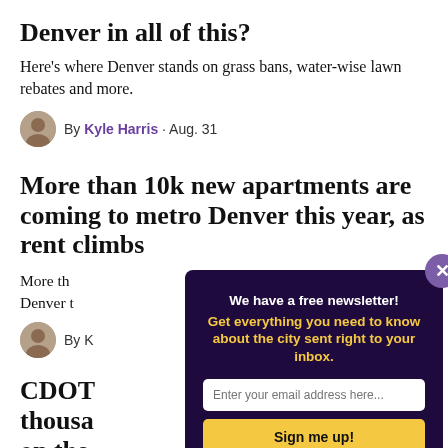Denver in all of this?
Here's where Denver stands on grass bans, water-wise lawn rebates and more.
By Kyle Harris · Aug. 31
More than 10k new apartments are coming to metro Denver this year, as rent climbs
More th... Denver t...
By K...
CDOT thousa on the
The one
[Figure (other): Newsletter signup modal with close button, headline 'We have a free newsletter!', subheadline 'Get everything you need to know about the city sent right to your inbox.', email input field, and 'Sign me up!' button]